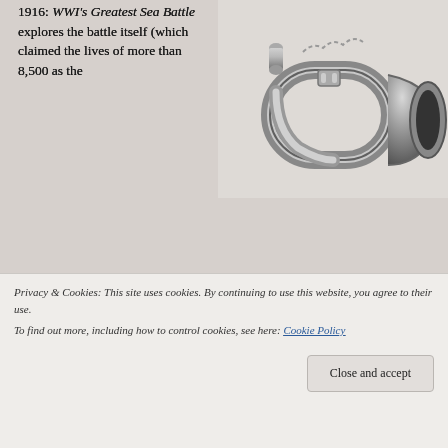1916: WWI's Greatest Sea Battle explores the battle itself (which claimed the lives of more than 8,500 as the British Grand Fleet met the German High Seas Fleet in what neither side could claim as a decisive victory) as well as its lead-up, aftermath and the experience of those serving on British and German warships through paintings and newspaper clippings, photographs, ship models and plans, sailor-made craft work and
[Figure (photo): A silver/chrome military bugle with chain, photographed against a light background]
Privacy & Cookies: This site uses cookies. By continuing to use this website, you agree to their use. To find out more, including how to control cookies, see here: Cookie Policy
Close and accept